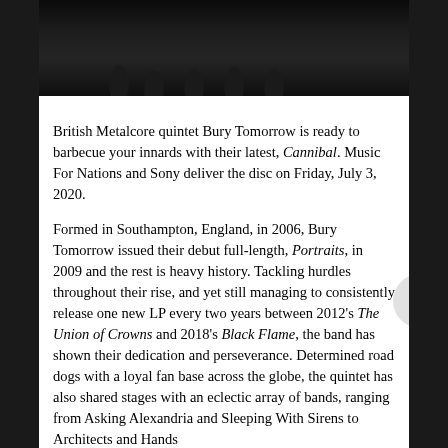[Figure (photo): Dark photograph of Bury Tomorrow band members standing together, wearing black clothing, showing tattoos on arms, taken outdoors in low light]
British Metalcore quintet Bury Tomorrow is ready to barbecue your innards with their latest, Cannibal. Music For Nations and Sony deliver the disc on Friday, July 3, 2020.
Formed in Southampton, England, in 2006, Bury Tomorrow issued their debut full-length, Portraits, in 2009 and the rest is heavy history. Tackling hurdles throughout their rise, and yet still managing to consistently release one new LP every two years between 2012's The Union of Crowns and 2018's Black Flame, the band has shown their dedication and perseverance. Determined road dogs with a loyal fan base across the globe, the quintet has also shared stages with an eclectic array of bands, ranging from Asking Alexandria and Sleeping With Sirens to Architects and Hands